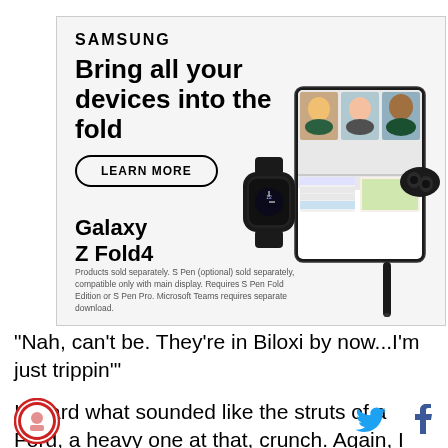[Figure (illustration): Samsung advertisement for Galaxy Z Fold4. Shows brand name SAMSUNG, headline 'Bring all your devices into the fold', a LEARN MORE button, product name 'Galaxy Z Fold4', and product images of a smartwatch, foldable phone with video call on screen, and wireless earbuds. Disclaimer text at bottom.]
"Nah, can't be. They're in Biloxi by now...I'm just trippin'"
I heard what sounded like the struts of a Ford, a heavy one at that, crunch. Again, I was able to convince my
[Figure (logo): Circular red/white logo with illustration inside]
[Figure (illustration): Twitter bird icon in blue]
[Figure (illustration): Facebook f icon in dark blue]